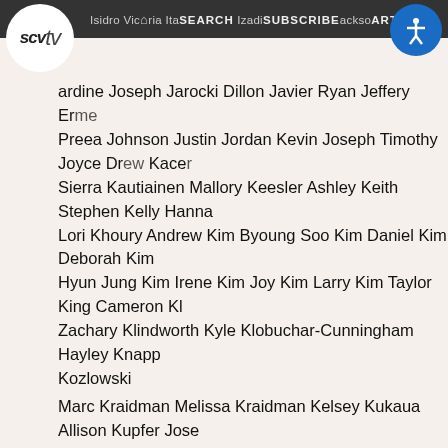scvtv  Isidro Victoria Ita SEARCH Izadi SUBSCRIBE ackso ARTIS
ardine Joseph Jarocki Dillon Javier Ryan Jeffery Er eme Preea Johnson Justin Jordan Kevin Joseph Timothy Joyce Dre Kacer Sierra Kautiainen Mallory Keesler Ashley Keith Stephen Kelly Hanna Lori Khoury Andrew Kim Byoung Soo Kim Daniel Kim Deborah Kim Hyun Jung Kim Irene Kim Joy Kim Larry Kim Taylor King Cameron Kl Zachary Klindworth Kyle Klobuchar-Cunningham Hayley Knapp Kozlowski
Marc Kraidman Melissa Kraidman Kelsey Kukaua Allison Kupfer Jose Christopher Laganiere Tara Landefeld Michael Lapcheske Grayson L
161
Fresh. Coverage
Hi I'm Shaffer Grindstaff and I would say I'm a very interesting perso is that I was born in Pittsburgh, Pennsylvania. I usually over think t around me. I don't rel1lly see myself going to college for the rest welder and maybe go to a tr.1de school like my step d,1d. In my fr myself gL'tting married. Hopefully at ll young age I can meet th.it s m,rny conrniercilils and movies, and rn,rny peoplt' don't know that a
Serena Le Duff Christian Leal Alison Lee
Anne Lee Chris Chan Lee Eunice Lee
Jane Lee Josephine Lee Randy Lee
Sun Lee Winston Lee Adam Lentz